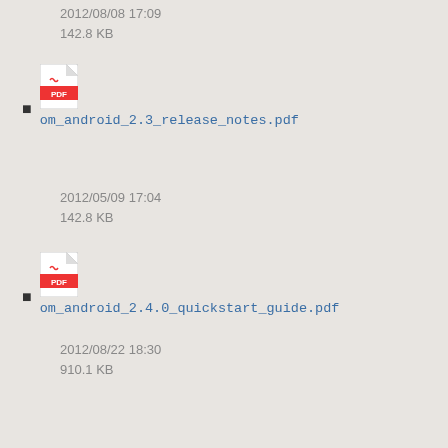2012/08/08 17:09
142.8 KB
om_android_2.3_release_notes.pdf
2012/05/09 17:04
142.8 KB
om_android_2.4.0_quickstart_guide.pdf
2012/08/22 18:30
910.1 KB
om_android_2.4.0_releasenotes.pdf
2012/08/08 17:09
145.7 KB